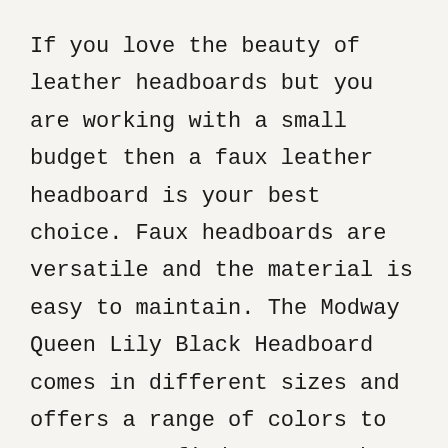If you love the beauty of leather headboards but you are working with a small budget then a faux leather headboard is your best choice. Faux headboards are versatile and the material is easy to maintain. The Modway Queen Lily Black Headboard comes in different sizes and offers a range of colors to ensure you find your match.
The height is fully customizable giving you the freedom to attach it to your bed of choice and no one will realize it isn't leather until they touch it. In addition, you can customize the height to fit